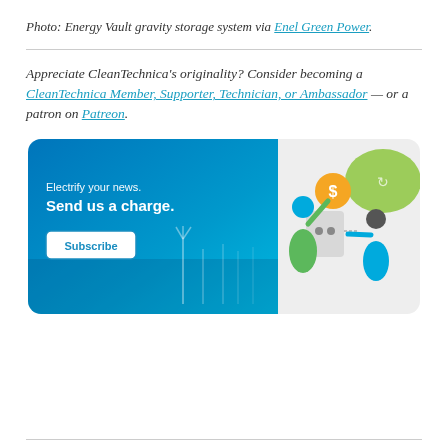Photo: Energy Vault gravity storage system via Enel Green Power.
Appreciate CleanTechnica’s originality? Consider becoming a CleanTechnica Member, Supporter, Technician, or Ambassador — or a patron on Patreon.
[Figure (illustration): CleanTechnica subscription banner with blue gradient background showing wind turbines, text 'Electrify your news. Send us a charge.' with a Subscribe button, and illustrated characters interacting with a power outlet and dollar coin on the right side.]